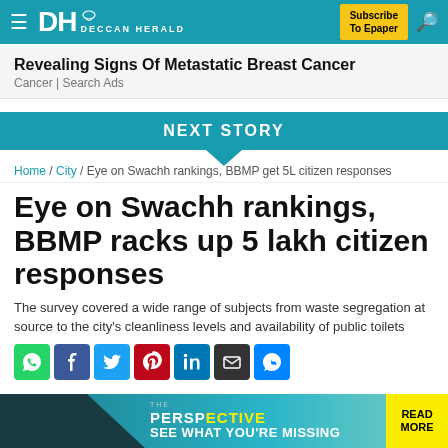DH DECCAN HERALD | Subscribe To Epaper
Revealing Signs Of Metastatic Breast Cancer
Cancer | Search Ads
NEXT STORY
Home / City / Eye on Swachh rankings, BBMP get 5L citizen responses
Eye on Swachh rankings, BBMP racks up 5 lakh citizen responses
The survey covered a wide range of subjects from waste segregation at source to the city's cleanliness levels and availability of public toilets
[Figure (other): Social media share icons: WhatsApp, Facebook, Twitter, Pinterest, LinkedIn, Email, Messenger]
[Figure (other): Advertisement banner: THE PERSPECTIVE - SEE WHAT YOU'RE MISSING | READ MORE]